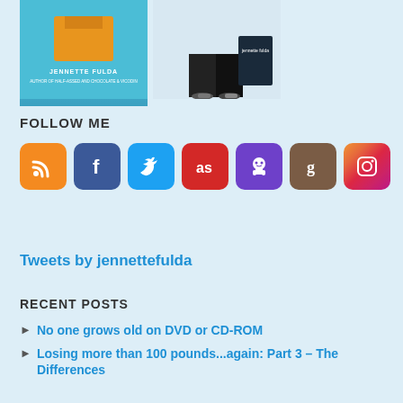[Figure (photo): Two book covers by Jennette Fulda. Left: blue cover with orange cupcake shape and author name. Right: photo of person's legs/feet with a book.]
FOLLOW ME
[Figure (infographic): Row of 7 social media icon buttons: RSS (orange), Facebook (blue), Twitter (light blue), Last.fm (red), GitHub (purple), Goodreads (brown), Instagram (gradient pink/red)]
Tweets by jennettefulda
RECENT POSTS
No one grows old on DVD or CD-ROM
Losing more than 100 pounds...again: Part 3 – The Differences